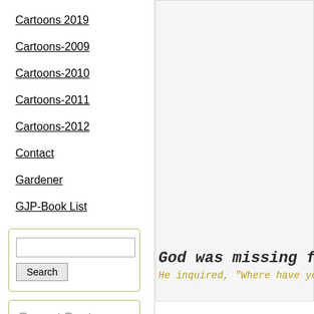Cartoons 2019
Cartoons-2009
Cartoons-2010
Cartoons-2011
Cartoons-2012
Contact
Gardener
GJP-Book List
Recent Posts
PSA-220819-Book Report
PSA-220818-Wierd Names
Good Grief?
[Figure (other): White/light gray content area on right column]
God was missing for
He inquired, "Where have you be